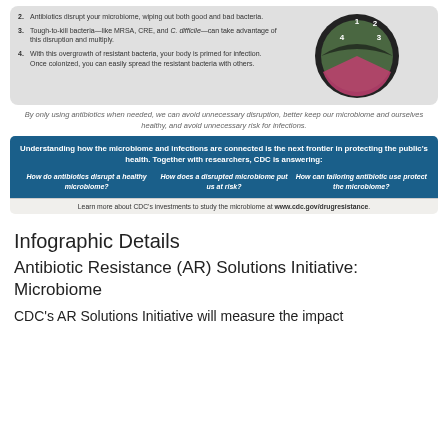[Figure (infographic): Infographic showing numbered steps (2-4) about antibiotic disruption of microbiome and resistant bacteria, with a circular diagram on the right showing microbiome stages labeled 1-4.]
By only using antibiotics when needed, we can avoid unnecessary disruption, better keep our microbiome and ourselves healthy, and avoid unnecessary risk for infections.
[Figure (infographic): Blue banner with bold text: 'Understanding how the microbiome and infections are connected is the next frontier in protecting the public's health. Together with researchers, CDC is answering:' followed by three italic bold questions: 'How do antibiotics disrupt a healthy microbiome?', 'How does a disrupted microbiome put us at risk?', 'How can tailoring antibiotic use protect the microbiome?']
Learn more about CDC's investments to study the microbiome at www.cdc.gov/drugresistance.
Infographic Details
Antibiotic Resistance (AR) Solutions Initiative: Microbiome
CDC's AR Solutions Initiative will measure the impact